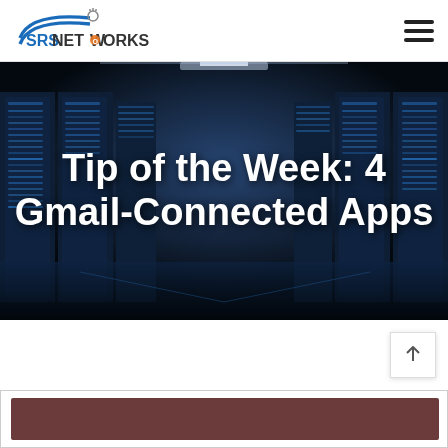[Figure (logo): SRS Networks logo with blue arc, satellite dish graphic, and gray network plug icon above text]
Tip of the Week: 4 Gmail-Connected Apps
[Figure (photo): Dark data center corridor with rows of illuminated server racks receding into the distance with blue lighting]